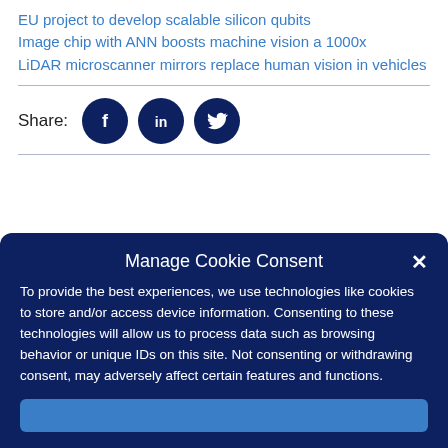EU project to develop scalable silicon qubits
Image chip with ANN boosts machine vision a 1000x
LiDAR microscanner mirrors replace human vision in vehicles
Share:
Manage Cookie Consent
To provide the best experiences, we use technologies like cookies to store and/or access device information. Consenting to these technologies will allow us to process data such as browsing behavior or unique IDs on this site. Not consenting or withdrawing consent, may adversely affect certain features and functions.